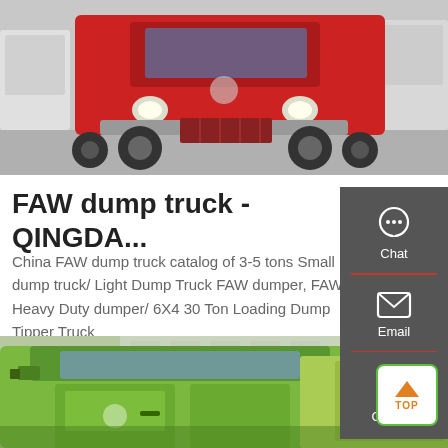[Figure (photo): Red heavy-duty dump truck / tractor head parked in a truck yard, front-facing view, multiple trucks in background]
FAW dump truck - QINGDA...
China FAW dump truck catalog of 3-5 tons Small dump truck/ Light Dump Truck FAW dumper, FAW Heavy Duty dumper/ 6X4 30 Ton Loading Dump Tipper Truck
Get a Quote
[Figure (screenshot): Sidebar panel with chat, email, and contact icons on dark gray background]
[Figure (photo): Green dump truck cab close-up view from the side, partial view of the truck body]